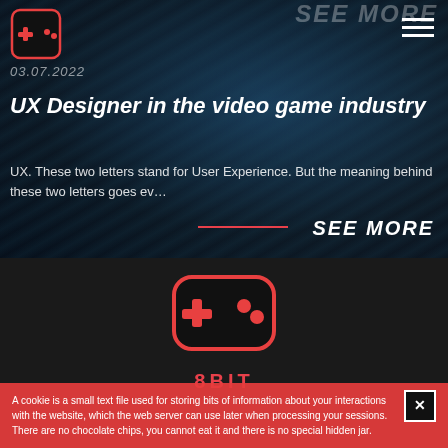[Figure (logo): 8BIT gaming logo - game controller icon in red on dark square background, top-left corner]
03.07.2022
UX Designer in the video game industry
UX. These two letters stand for User Experience. But the meaning behind these two letters goes ev…
SEE MORE
[Figure (logo): Large 8BIT gaming logo - game controller icon in red on dark background, centered in lower section]
8BIT
A cookie is a small text file used for storing bits of information about your interactions with the website, which the web server can use later when processing your sessions. There are no chocolate chips, you cannot eat it and there is no special hidden jar.